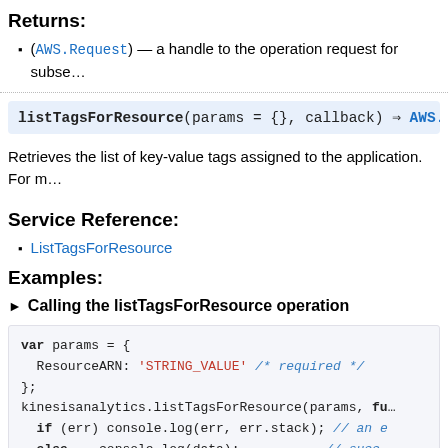Returns:
(AWS.Request) — a handle to the operation request for subse…
[Figure (other): Dotted horizontal divider line]
listTagsForResource(params = {}, callback) ⇒ AWS.Re…
Retrieves the list of key-value tags assigned to the application. For m…
Service Reference:
ListTagsForResource
Examples:
▶ Calling the listTagsForResource operation
var params = {
  ResourceARN: 'STRING_VALUE' /* required */
};
kinesisanalytics.listTagsForResource(params, fu…
  if (err) console.log(err, err.stack); // an e
  else     console.log(data);           // succ